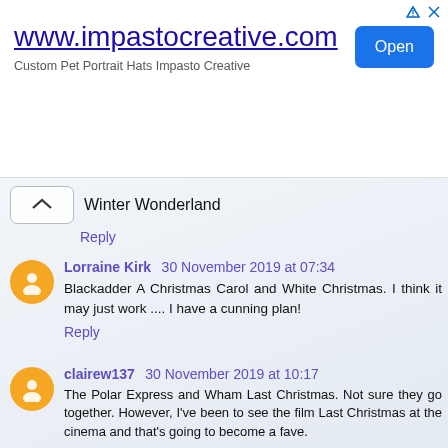[Figure (screenshot): Advertisement banner for www.impastocreative.com with Open button]
Winter Wonderland
Reply
Lorraine Kirk 30 November 2019 at 07:34
Blackadder A Christmas Carol and White Christmas. I think it may just work .... I have a cunning plan!
Reply
clairew137 30 November 2019 at 10:17
The Polar Express and Wham Last Christmas. Not sure they go together. However, I've been to see the film Last Christmas at the cinema and that's going to become a fave.
Reply